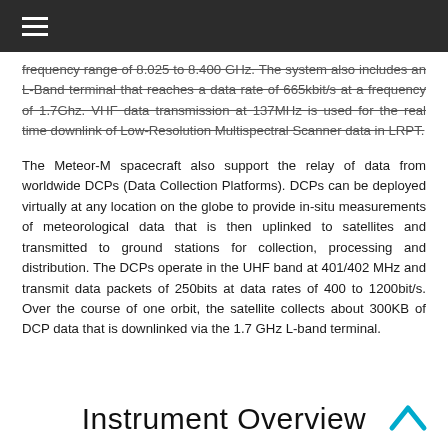≡
frequency range of 8.025 to 8.400 GHz. The system also includes an L-Band terminal that reaches a data rate of 665kbit/s at a frequency of 1.7Ghz. VHF data transmission at 137MHz is used for the real time downlink of Low-Resolution Multispectral Scanner data in LRPT.
The Meteor-M spacecraft also support the relay of data from worldwide DCPs (Data Collection Platforms). DCPs can be deployed virtually at any location on the globe to provide in-situ measurements of meteorological data that is then uplinked to satellites and transmitted to ground stations for collection, processing and distribution. The DCPs operate in the UHF band at 401/402 MHz and transmit data packets of 250bits at data rates of 400 to 1200bit/s. Over the course of one orbit, the satellite collects about 300KB of DCP data that is downlinked via the 1.7 GHz L-band terminal.
Instrument Overview